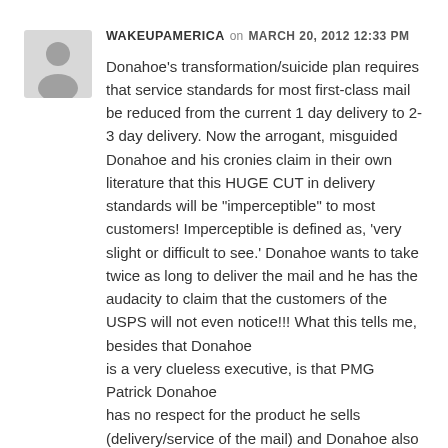[Figure (illustration): Generic user avatar icon — gray silhouette of a person on light gray background]
WAKEUPAMERICA on MARCH 20, 2012 12:33 PM
Donahoe's transformation/suicide plan requires that service standards for most first-class mail be reduced from the current 1 day delivery to 2-3 day delivery. Now the arrogant, misguided Donahoe and his cronies claim in their own literature that this HUGE CUT in delivery standards will be "imperceptible" to most customers! Imperceptible is defined as, 'very slight or difficult to see.' Donahoe wants to take twice as long to deliver the mail and he has the audacity to claim that the customers of the USPS will not even notice!!! What this tells me, besides that Donahoe is a very clueless executive, is that PMG Patrick Donahoe has no respect for the product he sells (delivery/service of the mail) and Donahoe also has no respect for the customers of his company. The truth of the matter is the mailing public will notice the